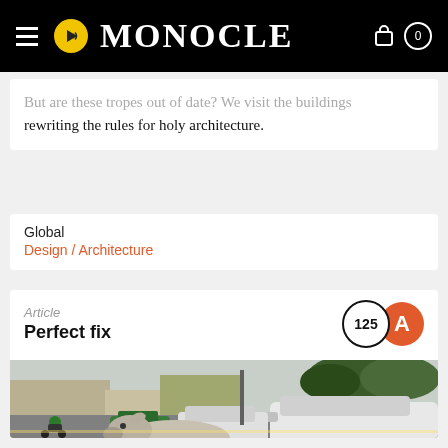MONOCLE
But are these tropes out of date? We visit the buildings rewriting the rules for holy architecture.
Global
Design / Architecture
Article
Perfect fix
[Figure (photo): A white cow resting on a busy urban street in India, surrounded by cars and auto-rickshaws, with trees lining the road in the background.]